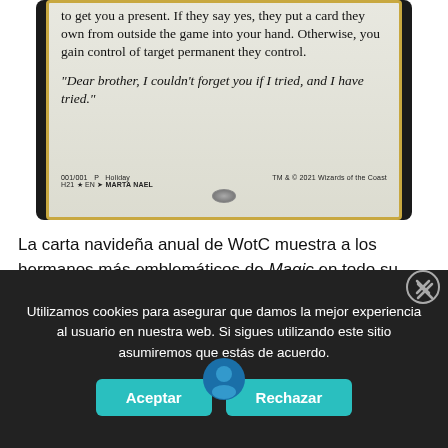[Figure (photo): Magic: The Gathering holiday card showing card text and flavor text. Text reads: 'to get you a present. If they say yes, they put a card they own from outside the game into your hand. Otherwise, you gain control of target permanent they control.' Flavor text: 'Dear brother, I couldn't forget you if I tried, and I have tried.' Footer: '001/001 P Holiday TM & © 2021 Wizards of the Coast H21 ★ EN → MARTA NAEL']
La carta navideña anual de WotC muestra a los hermanos más emblemáticos de Magic en todo su espantoso esplendor. ¿Qué opinas de esta carta?
Utilizamos cookies para asegurar que damos la mejor experiencia al usuario en nuestra web. Si sigues utilizando este sitio asumiremos que estás de acuerdo.